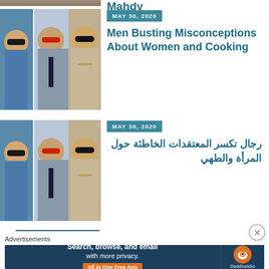[Figure (photo): Partial cropped image of an article at the top of the page]
Mahdy
[Figure (photo): Three men photos in a collage - article 1 thumbnail]
MAY 30, 2020
Men Busting Misconceptions About Women and Cooking
[Figure (photo): Three men photos in a collage - article 2 thumbnail]
MAY 30, 2020
رجال تكسر المعتقدات الخاطئة حول المرأة والطهي
Advertisements
[Figure (screenshot): DuckDuckGo advertisement banner: Search, browse, and email with more privacy. All in One Free App]